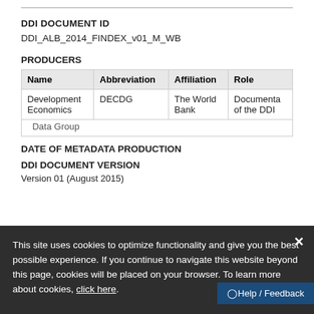DDI DOCUMENT ID
DDI_ALB_2014_FINDEX_v01_M_WB
PRODUCERS
| Name | Abbreviation | Affiliation | Role |
| --- | --- | --- | --- |
| Development Economics Data Group | DECDG | The World Bank | Documentation of the DDI |
DATE OF METADATA PRODUCTION
DDI DOCUMENT VERSION
Version 01 (August 2015)
This site uses cookies to optimize functionality and give you the best possible experience. If you continue to navigate this website beyond this page, cookies will be placed on your browser. To learn more about cookies, click here.